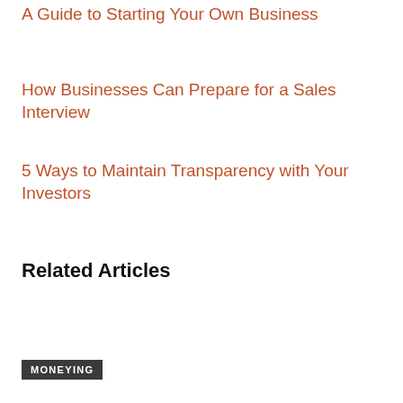A Guide to Starting Your Own Business
How Businesses Can Prepare for a Sales Interview
5 Ways to Maintain Transparency with Your Investors
Related Articles
MONEYING